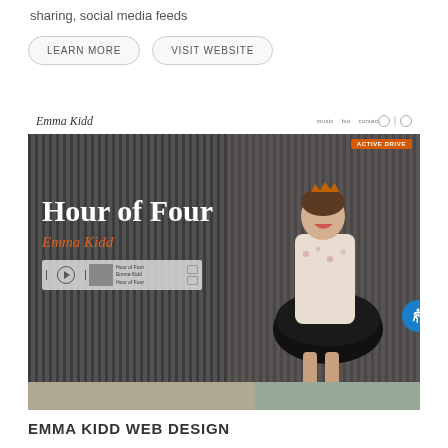sharing, social media feeds
LEARN MORE
VISIT WEBSITE
[Figure (screenshot): Screenshot of Emma Kidd website showing navigation bar with logo 'Emma Kidd' in script font, nav links (music, bio, contact) and icons. Hero section with dark corrugated metal background, large white text 'Hour of Four', orange italic text 'Emma Kidd', a music player widget. An orange 'ACTIVE DRIVE' badge top right. A person (young woman in tutu skirt and floral top with crown) on right side. Blue accessibility circle on far right edge. Below hero is a strip of a secondary image.]
EMMA KIDD WEB DESIGN